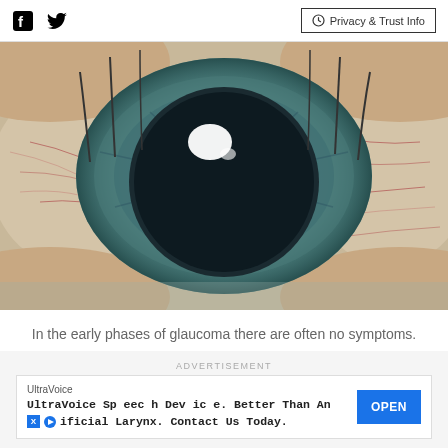Facebook | Twitter | Privacy & Trust Info
[Figure (photo): Close-up macro photograph of a human eye with glaucoma — showing a large, dilated pupil surrounded by a blue-gray iris with visible pigmentation patterns, and red blood vessels in the sclera (white of the eye) with eyelashes visible at the edges.]
In the early phases of glaucoma there are often no symptoms.
ADVERTISEMENT
UltraVoice
UltraVoice Speech Device. Better Than An Artificial Larynx. Contact Us Today.